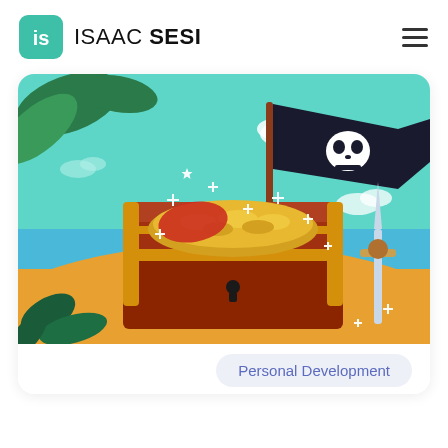ISAAC SESI
[Figure (illustration): Cartoon pirate treasure chest overflowing with gold coins on a beach, with a pirate flag planted in it, palm leaves in the top left, a sword planted in the sand on the right, and sparkle effects. Teal sky with clouds in the background.]
Personal Development